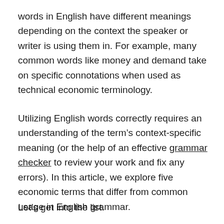words in English have different meanings depending on the context the speaker or writer is using them in. For example, many common words like money and demand take on specific connotations when used as technical economic terminology.
Utilizing English words correctly requires an understanding of the term's context-specific meaning (or the help of an effective grammar checker to review your work and fix any errors). In this article, we explore five economic terms that differ from common usage in English grammar.
Let's get into the list.